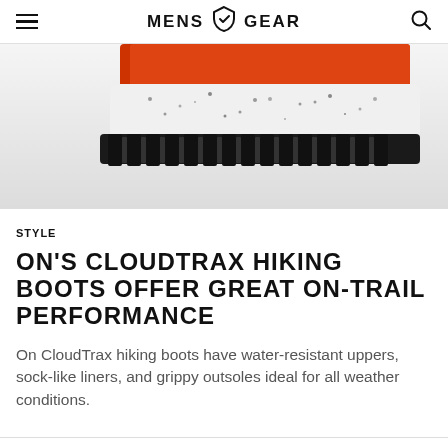MENS GEAR
[Figure (photo): Close-up of the sole and bottom of On CloudTrax hiking boot showing orange upper, white midsole with speckled texture, and black rubber outsole with deep lugs]
STYLE
ON'S CLOUDTRAX HIKING BOOTS OFFER GREAT ON-TRAIL PERFORMANCE
On CloudTrax hiking boots have water-resistant uppers, sock-like liners, and grippy outsoles ideal for all weather conditions.